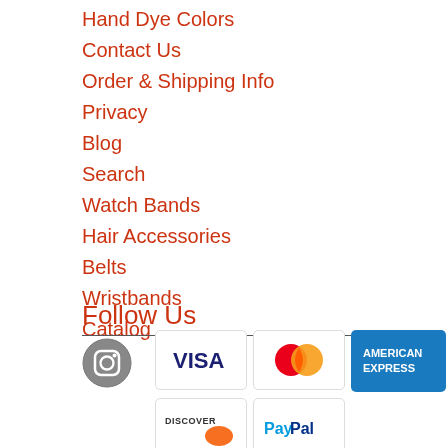Hand Dye Colors
Contact Us
Order & Shipping Info
Privacy
Blog
Search
Watch Bands
Hair Accessories
Belts
Wristbands
Catalog
Follow Us
[Figure (logo): Instagram icon - gray circular camera logo]
[Figure (logo): Payment method icons: VISA, MasterCard, American Express, Discover, PayPal]